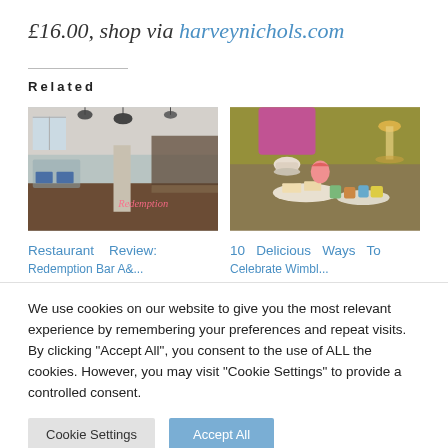£16.00, shop via harveynichols.com
Related
[Figure (photo): Interior of a restaurant with pendant lights, bar area, and pink neon sign reading 'Redemption']
Restaurant Review:
[Figure (photo): Afternoon tea spread with sandwiches, colourful cakes, champagne flutes, and teacups on a table]
10 Delicious Ways To
We use cookies on our website to give you the most relevant experience by remembering your preferences and repeat visits. By clicking "Accept All", you consent to the use of ALL the cookies. However, you may visit "Cookie Settings" to provide a controlled consent.